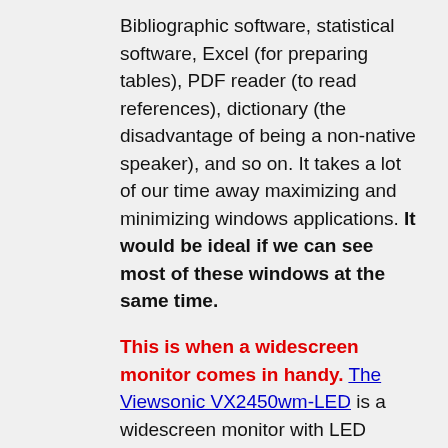Bibliographic software, statistical software, Excel (for preparing tables), PDF reader (to read references), dictionary (the disadvantage of being a non-native speaker), and so on. It takes a lot of our time away maximizing and minimizing windows applications. It would be ideal if we can see most of these windows at the same time.
This is when a widescreen monitor comes in handy. The Viewsonic VX2450wm-LED is a widescreen monitor with LED backlight. In addition to our personal needs, we also wanted to follow the road to environmental friendliness, we examined the features of Green LED Monitors to replace our old LCD monitor